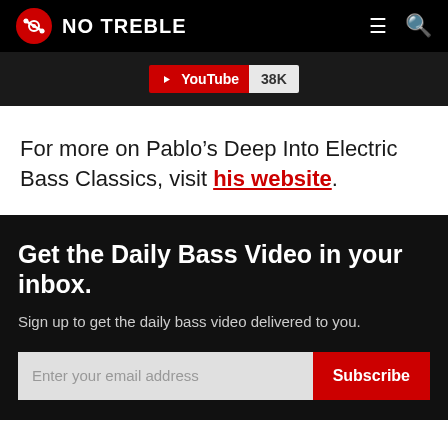NO TREBLE
[Figure (logo): YouTube subscribe button showing 38K subscribers]
For more on Pablo’s Deep Into Electric Bass Classics, visit his website.
Get the Daily Bass Video in your inbox.
Sign up to get the daily bass video delivered to you.
Enter your email address  Subscribe